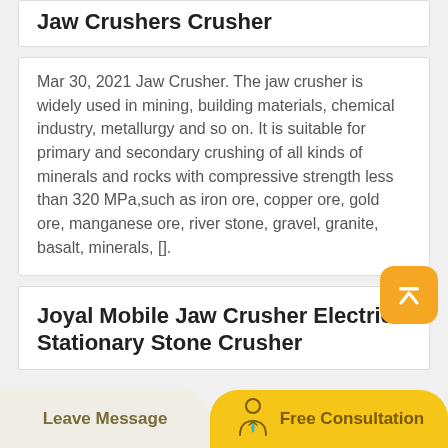Jaw Crushers Crusher
Mar 30, 2021 Jaw Crusher. The jaw crusher is widely used in mining, building materials, chemical industry, metallurgy and so on. It is suitable for primary and secondary crushing of all kinds of minerals and rocks with compressive strength less than 320 MPa,such as iron ore, copper ore, gold ore, manganese ore, river stone, gravel, granite, basalt, minerals, [].
Joyal Mobile Jaw Crusher Electric Stationary Stone Crusher
Leave Message
Free Consultation